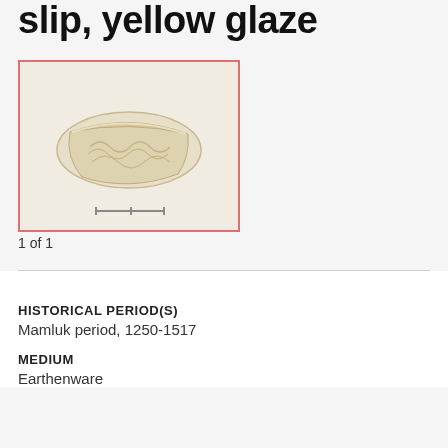slip, yellow glaze
[Figure (photo): Fragment of an earthenware vessel with carved scrolling decoration, shown against a light background with a scale bar. The piece is partially bowl-shaped with cream/ivory coloring.]
1 of 1
HISTORICAL PERIOD(S)
Mamluk period, 1250-1517
MEDIUM
Earthenware